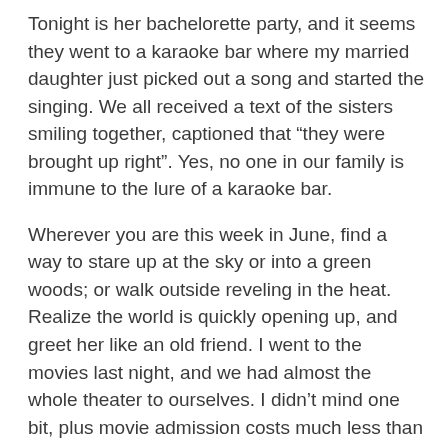Tonight is her bachelorette party, and it seems they went to a karaoke bar where my married daughter just picked out a song and started the singing. We all received a text of the sisters smiling together, captioned that “they were brought up right”. Yes, no one in our family is immune to the lure of a karaoke bar.
Wherever you are this week in June, find a way to stare up at the sky or into a green woods; or walk outside reveling in the heat. Realize the world is quickly opening up, and greet her like an old friend. I went to the movies last night, and we had almost the whole theater to ourselves. I didn’t mind one bit, plus movie admission costs much less than it did a year ago. Enjoy summertime in June!
I’m wishing you all the happiness your heart can hold…